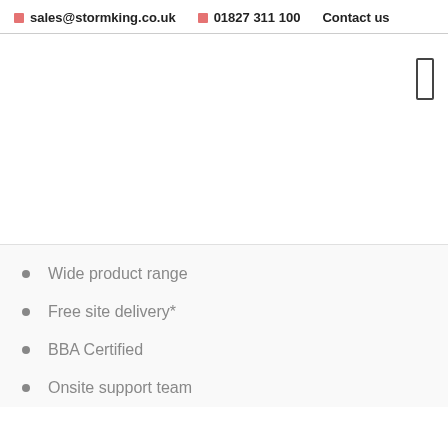sales@stormking.co.uk  01827 311 100  Contact us
Wide product range
Free site delivery*
BBA Certified
Onsite support team